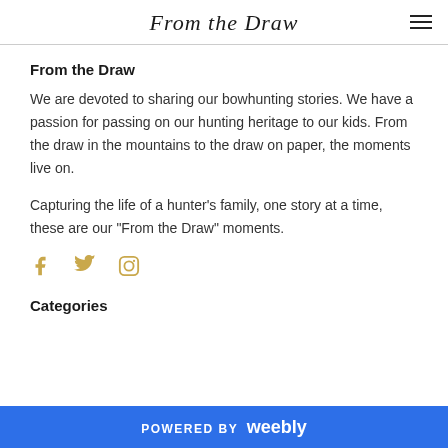From the Draw
From the Draw
We are devoted to sharing our bowhunting stories. We have a passion for passing on our hunting heritage to our kids. From the draw in the mountains to the draw on paper, the moments live on.
Capturing the life of a hunter's family, one story at a time, these are our "From the Draw" moments.
[Figure (infographic): Social media icons: Facebook, Twitter, Instagram in gold/tan color]
Categories
POWERED BY weebly